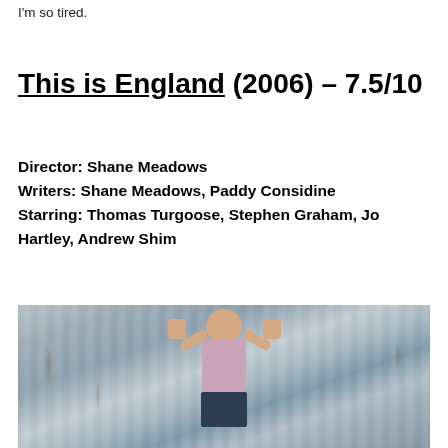I'm so tired.
This is England (2006) – 7.5/10
Director: Shane Meadows
Writers: Shane Meadows, Paddy Considine
Starring: Thomas Turgoose, Stephen Graham, Jo Hartley, Andrew Shim
[Figure (photo): A young boy with a shaved head wearing a checkered shirt and red suspenders, standing in front of a corrugated metal wall, raising both hands toward the camera with fingers spread.]